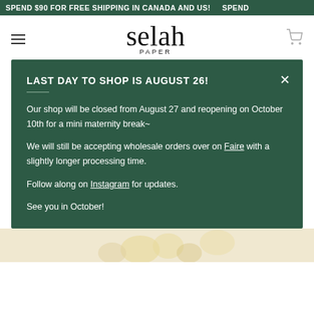SPEND $90 FOR FREE SHIPPING IN CANADA AND US! SPEND
[Figure (logo): Selah Paper script logo with PAPER text beneath]
LAST DAY TO SHOP IS AUGUST 26!
Our shop will be closed from August 27 and reopening on October 10th for a mini maternity break~
We will still be accepting wholesale orders over on Faire with a slightly longer processing time.
Follow along on Instagram for updates.
See you in October!
[Figure (photo): Floral background image with light yellow/cream flowers]